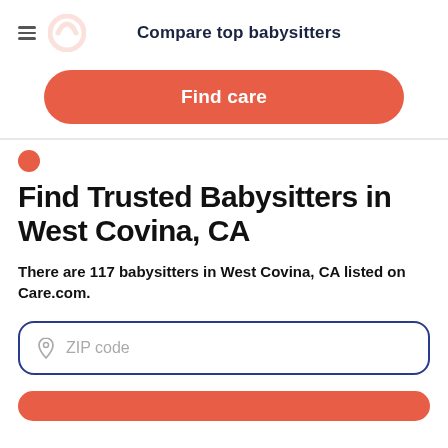Compare top babysitters
[Figure (other): Orange/red rounded rectangle button with white bold text 'Find care']
Find Trusted Babysitters in West Covina, CA
There are 117 babysitters in West Covina, CA listed on Care.com.
[Figure (other): ZIP code input field with location pin icon and placeholder text 'ZIP code', outlined with dark blue rounded border]
[Figure (other): Orange/red rounded rectangle button at bottom (partially visible)]